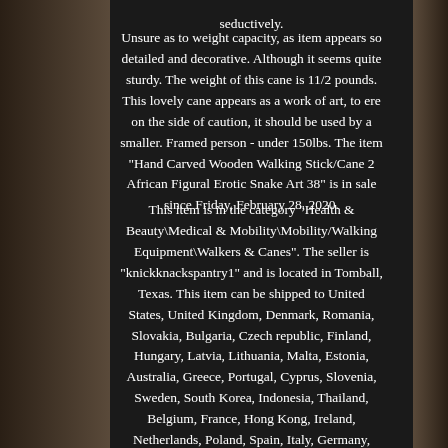seductively.
Unsure as to weight capacity, as item appears so detailed and decorative. Although it seems quite sturdy. The weight of this cane is 11/2 pounds. This lovely cane appears as a work of art, to ere on the side of caution, it should be used by a smaller. Framed person - under 150lbs. The item "Hand Carved Wooden Walking Stick/Cane 2 African Figural Erotic Snake Art 38" is in sale since Friday, February 28, 2020.
This item is in the category "Health & Beauty\Medical & Mobility\Mobility/Walking Equipment\Walkers & Canes". The seller is "knickknackspantry1" and is located in Tomball, Texas. This item can be shipped to United States, United Kingdom, Denmark, Romania, Slovakia, Bulgaria, Czech republic, Finland, Hungary, Latvia, Lithuania, Malta, Estonia, Australia, Greece, Portugal, Cyprus, Slovenia, Sweden, South Korea, Indonesia, Thailand, Belgium, France, Hong Kong, Ireland, Netherlands, Poland, Spain, Italy, Germany, Austria, Bahamas, Israel, Mexico, New Zealand, Philippines, Singapore, Switzerland, Norway, Saudi arabia, United arab emirates, Qatar, Kuwait, Bahrain, Croatia, Malaysia, Chile, Costa rica, Dominican republic, Panama, Trinidad and tobago, Guatemala, El